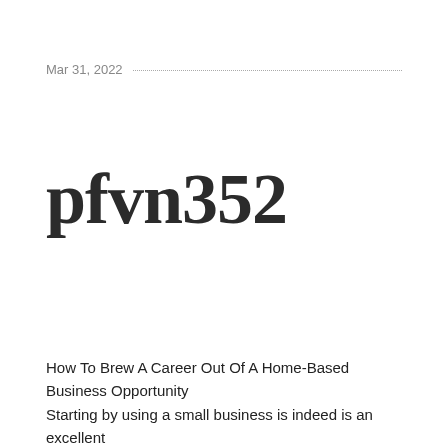Mar 31, 2022
pfvn352
How To Brew A Career Out Of A Home-Based Business Opportunity
Starting by using a small business is indeed is an excellent